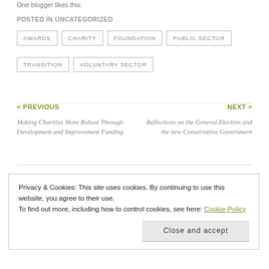One blogger likes this.
POSTED IN UNCATEGORIZED
AWARDS
CHARITY
FOUNDATION
PUBLIC SECTOR
TRANSITION
VOLUNTARY SECTOR
< PREVIOUS
Making Charities More Robust Through Development and Improvement Funding
NEXT >
Reflections on the General Election and the new Conservative Government
Privacy & Cookies: This site uses cookies. By continuing to use this website, you agree to their use.
To find out more, including how to control cookies, see here: Cookie Policy
Close and accept